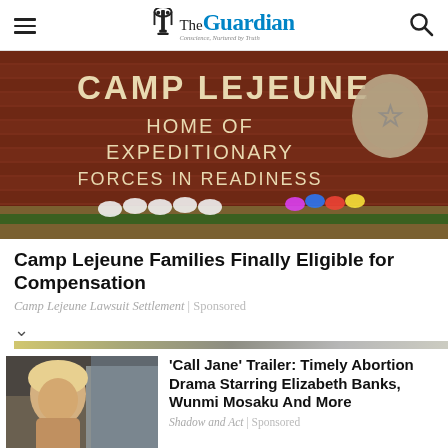The Guardian
[Figure (photo): Camp Lejeune entrance sign on brick wall reading 'CAMP LEJEUNE HOME OF EXPEDITIONARY FORCES IN READINESS' with flowers at the base and Marine Corps emblem]
Camp Lejeune Families Finally Eligible for Compensation
Camp Lejeune Lawsuit Settlement | Sponsored
[Figure (photo): Woman with blonde hair, still from 'Call Jane' movie trailer]
'Call Jane' Trailer: Timely Abortion Drama Starring Elizabeth Banks, Wunmi Mosaku And More
Shadow and Act | Sponsored
Jubna